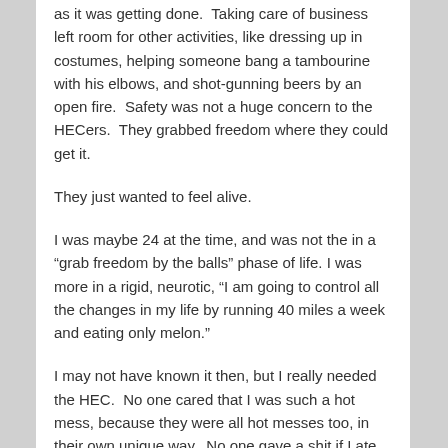as it was getting done.  Taking care of business left room for other activities, like dressing up in costumes, helping someone bang a tambourine with his elbows, and shot-gunning beers by an open fire.  Safety was not a huge concern to the HECers.  They grabbed freedom where they could get it.
They just wanted to feel alive.
I was maybe 24 at the time, and was not the in a “grab freedom by the balls” phase of life. I was more in a rigid, neurotic, “I am going to control all the changes in my life by running 40 miles a week and eating only melon.”
I may not have known it then, but I really needed the HEC.  No one cared that I was such a hot mess, because they were all hot messes too, in their own unique way.  No one gave a shit if I ate the mashed potatoes or not, because most of them had mashed potatoes all over their faces.  I can say this with great fondness,  because we all laughed about it – no one took themselves too seriously.  Everyone made fun of themselves and each other, but in